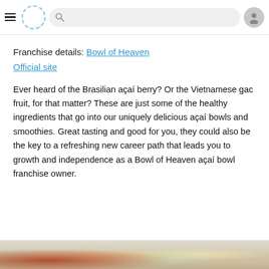[Navigation header with hamburger menu, logo, search bar, and user icon]
Franchise details: Bowl of Heaven
Official site
Ever heard of the Brasilian açaí berry? Or the Vietnamese gac fruit, for that matter? These are just some of the healthy ingredients that go into our uniquely delicious açaí bowls and smoothies. Great tasting and good for you, they could also be the key to a refreshing new career path that leads you to growth and independence as a Bowl of Heaven açaí bowl franchise owner.
[Figure (photo): Bottom strip showing food bowls with açaí and toppings]